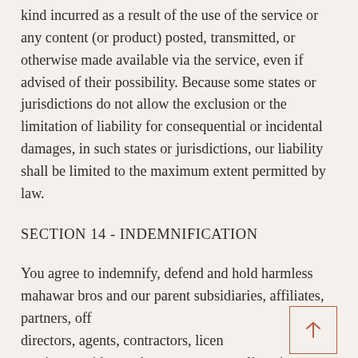kind incurred as a result of the use of the service or any content (or product) posted, transmitted, or otherwise made available via the service, even if advised of their possibility. Because some states or jurisdictions do not allow the exclusion or the limitation of liability for consequential or incidental damages, in such states or jurisdictions, our liability shall be limited to the maximum extent permitted by law.
SECTION 14 - INDEMNIFICATION
You agree to indemnify, defend and hold harmless mahawar bros and our parent subsidiaries, affiliates, partners, officers, directors, agents, contractors, licensors, service providers, subcontractors, suppliers, interns and employees, harmless from any claim or demand, including reasonable attorneys' fees, made by any third party due to or arising